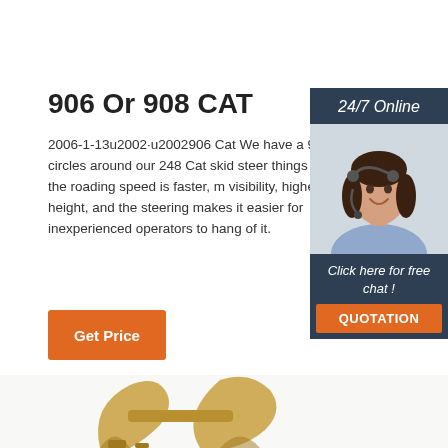906 Or 908 CAT
2006-1-13u2002·u2002906 Cat We have a 90 it will run circles around our 248 Cat skid steer things about are the roading speed is faster, m visibility, higher lifting height, and the steering makes it easier for inexperienced operators to hang of it.
[Figure (other): Orange 'Get Price' button]
[Figure (photo): Sidebar with '24/7 Online' header, photo of woman with headset smiling, 'Click here for free chat!' text, and orange QUOTATION button on dark navy background]
[Figure (photo): Bottom portion of image showing a yellow/gold construction equipment bucket or attachment part]